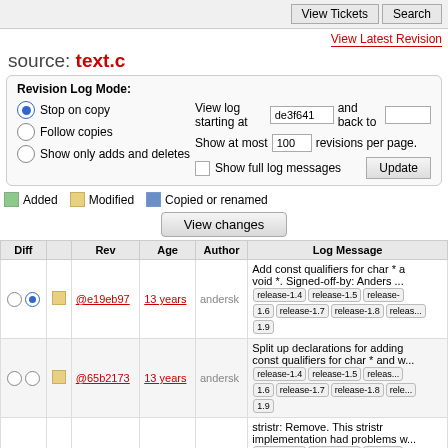View Tickets | Search
View Latest Revision
source: text.c
Revision Log Mode: Stop on copy / Follow copies / Show only adds and deletes | View log starting at de3f641 and back to | Show at most 100 revisions per page. | Show full log messages | Update
Added  Modified  Copied or renamed
View changes
| Diff |  | Rev | Age | Author | Log Message |
| --- | --- | --- | --- | --- | --- |
| ○ ● | [mod] | @e19eb97 | 13 years | andersk | Add const qualifiers for char * a void *. Signed-off-by: Anders ... release-1.4 release-1.5 release-1.6 release-1.7 release-1.8 rele... 1.9 |
| ○ ○ | [mod] | @65b2173 | 13 years | andersk | Split up declarations for adding const qualifiers for char * and w ... release-1.4 release-1.5 releas... 1.6 release-1.7 release-1.8 rele... 1.9 |
| ○ ○ | [mod] | @64c9165 | 13 years | andersk | stristr: Remove. This stristr implementation had problems w ... release-1.4 release-1.5 releas... 1.6 release-1.7 release-1.8 rele... 1.9 |
| ○ ○ |  |  |  |  | Death to RCS keywords. Signe... |